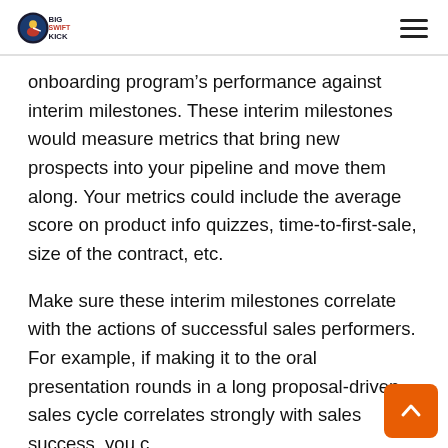Big Swift Kick logo and navigation menu
onboarding program’s performance against interim milestones. These interim milestones would measure metrics that bring new prospects into your pipeline and move them along. Your metrics could include the average score on product info quizzes, time-to-first-sale, size of the contract, etc.
Make sure these interim milestones correlate with the actions of successful sales performers. For example, if making it to the oral presentation rounds in a long proposal-driven sales cycle correlates strongly with sales success, you could use that as a milestone.